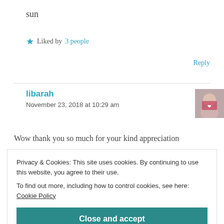sun
★ Liked by 3 people
Reply
libarah
November 23, 2018 at 10:29 am
[Figure (photo): Avatar/profile photo thumbnail of user libarah]
Wow thank you so much for your kind appreciation
Privacy & Cookies: This site uses cookies. By continuing to use this website, you agree to their use.
To find out more, including how to control cookies, see here: Cookie Policy
Close and accept